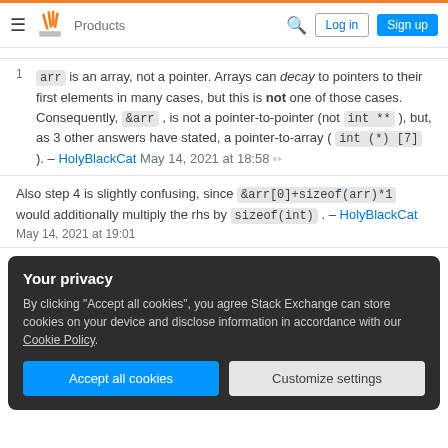Stack Overflow - Products | Log in | Sign up
1  arr is an array, not a pointer. Arrays can decay to pointers to their first elements in many cases, but this is not one of those cases. Consequently, &arr , is not a pointer-to-pointer (not int ** ), but, as 3 other answers have stated, a pointer-to-array ( int (*) [7] ). – HolyBlackCat May 14, 2021 at 18:58
Also step 4 is slightly confusing, since &arr[0]+sizeof(arr)*1 would additionally multiply the rhs by sizeof(int) . – HolyBlackCat May 14, 2021 at 19:01
Your privacy
By clicking "Accept all cookies", you agree Stack Exchange can store cookies on your device and disclose information in accordance with our Cookie Policy.
[Accept all cookies] [Customize settings]